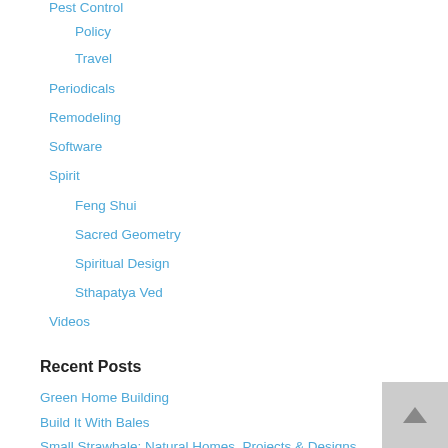Pest Control
Policy
Travel
Periodicals
Remodeling
Software
Spirit
Feng Shui
Sacred Geometry
Spiritual Design
Sthapatya Ved
Videos
Recent Posts
Green Home Building
Build It With Bales
Small Strawbale: Natural Homes, Projects & Designs